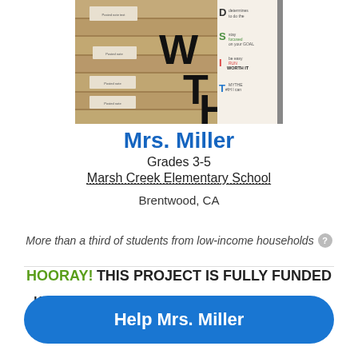[Figure (photo): Classroom photo showing a wooden plank-style bulletin board with large letters W, T, H and a GRIT/motivational poster on the right side with phrases like 'Stay focused on your goal', 'be easy', 'WORTH IT', 'I can']
Mrs. Miller
Grades 3-5
Marsh Creek Elementary School
Brentwood, CA
More than a third of students from low-income households
HOORAY! THIS PROJECT IS FULLY FUNDED
Keep the momentum going! Make a donation to Mrs. Miller for her next project!
Help Mrs. Miller